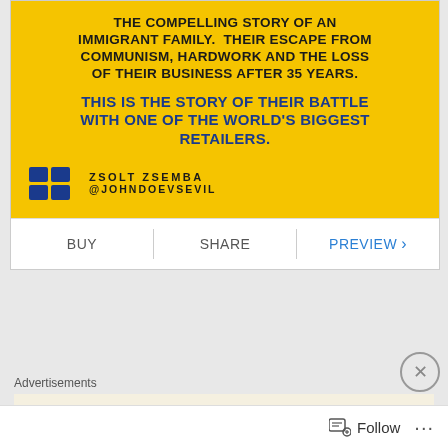[Figure (illustration): Book cover with yellow background showing text about an immigrant family story. Includes IKEA-style logo squares and author info. Text reads: THE COMPELLING STORY OF AN IMMIGRANT FAMILY. THEIR ESCAPE FROM COMMUNISM, HARDWORK AND THE LOSS OF THEIR BUSINESS AFTER 35 YEARS. THIS IS THE STORY OF THEIR BATTLE WITH ONE OF THE WORLD'S BIGGEST RETAILERS. ZSOLT ZSEMBA @JOHNDOEVSEVIL]
BUY
SHARE
PREVIEW
Advertisements
Professionally designed sites
Follow